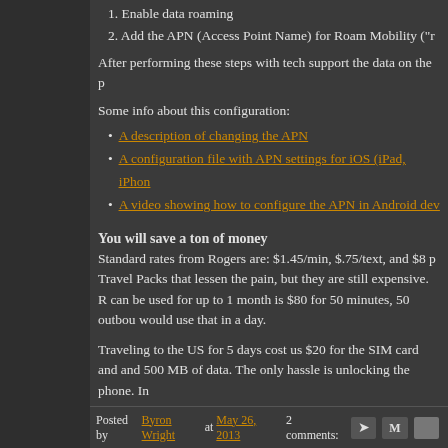1. Enable data roaming
2. Add the APN (Access Point Name) for Roam Mobility ("r...
After performing these steps with tech support the data on the p...
Some info about this configuration:
A description of changing the APN
A configuration file with APN settings for iOS (iPad, iPhon...
A video showing how to configure the APN in Android dev...
You will save a ton of money
Standard rates from Rogers are: $1.45/min, $.75/text, and $8 p... Travel Packs that lessen the pain, but they are still expensive. R... can be used for up to 1 month is $80 for 50 minutes, 50 outbou... would use that in a day.
Traveling to the US for 5 days cost us $20 for the SIM card and... and 500 MB of data. The only hassle is unlocking the phone. In...
Posted by Byron Wright at May 26, 2013   2 comments: